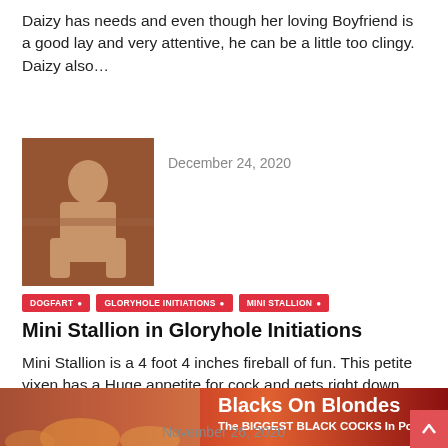Daizy has needs and even though her loving Boyfriend is a good lay and very attentive, he can be a little too clingy. Daizy also…
[Figure (photo): Thumbnail photo of a woman on an orange/brown background]
December 24, 2020
DOGFART
GLORYHOLE INITIATIONS
MINI STALLION
Mini Stallion in Gloryhole Initiations
Mini Stallion is a 4 foot 4 inches fireball of fun. This petite vixen has a Huge appetite for cock and gets right down to…
[Figure (photo): Banner advertisement: Blacks On Blondes – The BIGGEST BLACK COCKS In Porn]
[Figure (photo): Thumbnail photo of two women]
November 26, 2020